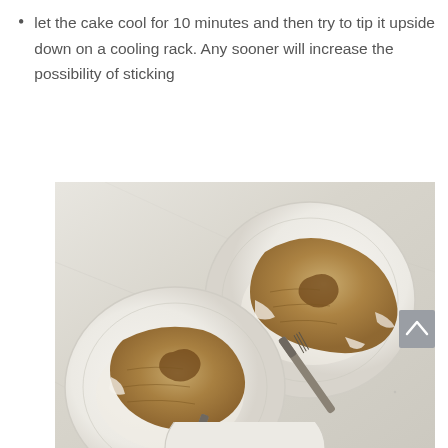let the cake cool for 10 minutes and then try to tip it upside down on a cooling rack. Any sooner will increase the possibility of sticking
[Figure (photo): Overhead view of two white ceramic plates, each holding a slice of bundt cake with white glaze, with vintage silver forks resting on the plates and marble-like light grey surface background.]